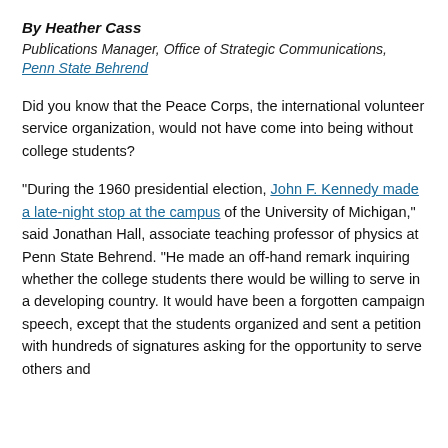By Heather Cass
Publications Manager, Office of Strategic Communications,
Penn State Behrend
Did you know that the Peace Corps, the international volunteer service organization, would not have come into being without college students?
“During the 1960 presidential election, John F. Kennedy made a late-night stop at the campus of the University of Michigan,” said Jonathan Hall, associate teaching professor of physics at Penn State Behrend. “He made an off-hand remark inquiring whether the college students there would be willing to serve in a developing country. It would have been a forgotten campaign speech, except that the students organized and sent a petition with hundreds of signatures asking for the opportunity to serve others and